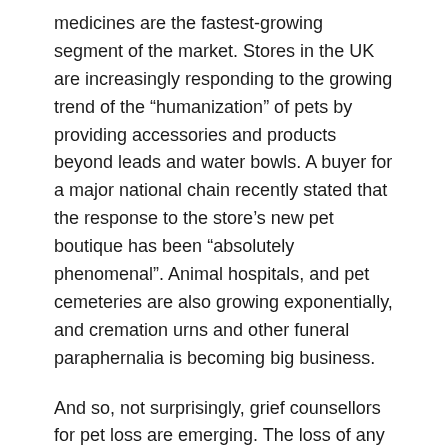medicines are the fastest-growing segment of the market. Stores in the UK are increasingly responding to the growing trend of the “humanization” of pets by providing accessories and products beyond leads and water bowls. A buyer for a major national chain recently stated that the response to the store’s new pet boutique has been “absolutely phenomenal”. Animal hospitals, and pet cemeteries are also growing exponentially, and cremation urns and other funeral paraphernalia is becoming big business.
And so, not surprisingly, grief counsellors for pet loss are emerging. The loss of any relationship can cause intense pain, and even if others may not understand, a pet is often a significant and constant part of your life. Pebbles provided Marian a source of comfort and companionship, unconditional love and acceptance, and even fun and joy after Bob’s death. Little wonder she was devastated by the loss of that relationship